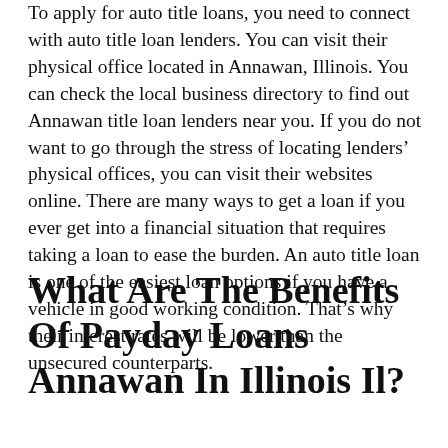To apply for auto title loans, you need to connect with auto title loan lenders. You can visit their physical office located in Annawan, Illinois. You can check the local business directory to find out Annawan title loan lenders near you. If you do not want to go through the stress of locating lenders' physical offices, you can visit their websites online. There are many ways to get a loan if you ever get into a financial situation that requires taking a loan to ease the burden. An auto title loan is one of the easiest loan options if you have a vehicle in good working condition. That's why their interest rates will be lower than the unsecured counterparts.
What Are The Benefits Of Payday Loans Annawan In Illinois Il?